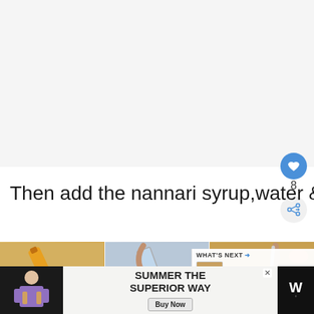[Figure (photo): Blank/white background area at the top of the page]
Then add the nannari syrup,water & give a good stir.
[Figure (photo): Three-panel photo strip showing steps: (1) amber nannari syrup being poured from a bottle into a metal cup, (2) water being poured from a glass into the cup, (3) a hand stirring the mixture in the cup with a spoon. A 'WHAT'S NEXT' card overlay shows a thumbnail for 'Lemon Idiyappam/...']
[Figure (photo): Advertisement banner at bottom: person on left, 'SUMMER THE SUPERIOR WAY' text in center with 'Buy Now' button, logo 'W°' on right]